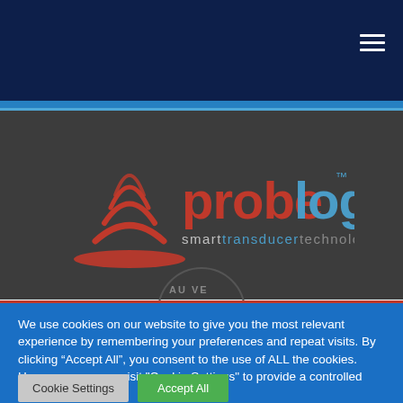[Figure (logo): ProbeLogic logo with red arc wave graphic, 'probe' in red bold text, 'logic' in blue bold text with TM mark, and tagline 'smart transducer technology' below]
We use cookies on our website to give you the most relevant experience by remembering your preferences and repeat visits. By clicking "Accept All", you consent to the use of ALL the cookies. However, you may visit "Cookie Settings" to provide a controlled consent.
Cookie Settings
Accept All